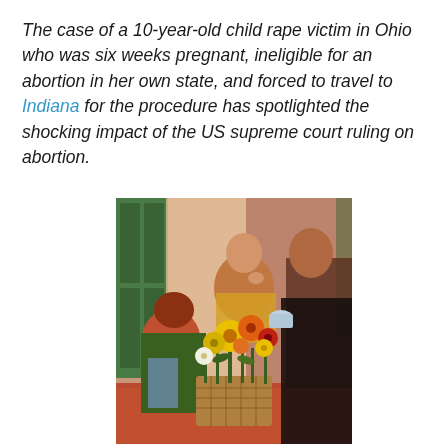The case of a 10-year-old child rape victim in Ohio who was six weeks pregnant, ineligible for an abortion in her own state, and forced to travel to Indiana for the procedure has spotlighted the shocking impact of the US supreme court ruling on abortion.
[Figure (illustration): A painting depicting two children and an adult woman gathered around a basket of colorful flowers (yellow, orange, red, white daisies/sunflowers) on a table. The scene has warm colors — orange, green, yellow, pink — with a window and green shutters in the background. Impressionist-style artwork.]